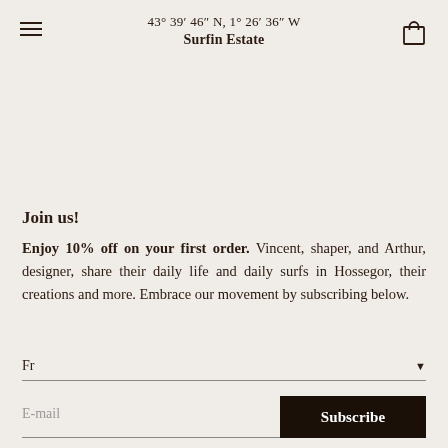43° 39′ 46″ N, 1° 26′ 36″ W
Surfin Estate
Join us!
Enjoy 10% off on your first order. Vincent, shaper, and Arthur, designer, share their daily life and daily surfs in Hossegor, their creations and more. Embrace our movement by subscribing below.
Fr
E-mail